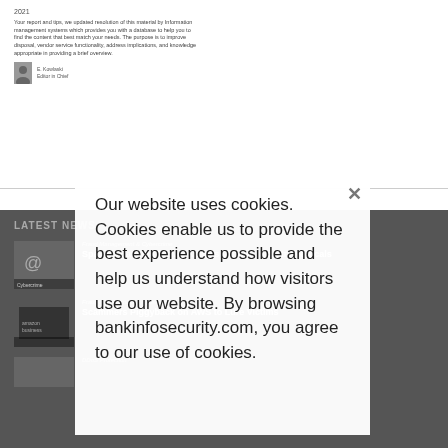2021
Your report and tips, we updated resolution of this material by Information management systems which provides you with a database to help you to find the content that best match your needs. The purpose is to improve disposal, vendor service functionality, address implications, and knowledge appropriate in providing a brief overview.
[Figure (photo): Author portrait - small black and white headshot]
Author name and title
LATEST NEWS
[Figure (photo): Email/cybercrime thumbnail image with @ symbol]
Fraud Management & Cybercrime
Spanish Banking Trojan Attacks Various Industry Verticals
[Figure (photo): Amazon/AWS laptop thumbnail image]
Fraud Management & Cybercrime
Scammers Piggyback on AWS to Lure Victims
DDoS Protection
Our website uses cookies. Cookies enable us to provide the best experience possible and help us understand how visitors use our website. By browsing bankinfosecurity.com, you agree to our use of cookies.